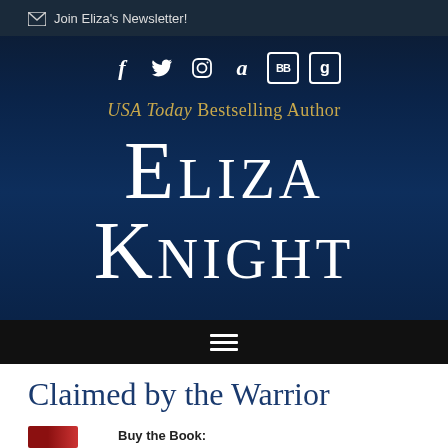✉ Join Eliza's Newsletter!
[Figure (screenshot): Social media icons: Facebook, Twitter, Instagram, Amazon, BookBub (BB), Goodreads (g)]
USA Today Bestselling Author
ELIZA KNIGHT
[Figure (other): Navigation hamburger menu bar (three horizontal lines) on dark background]
Claimed by the Warrior
Buy the Book: